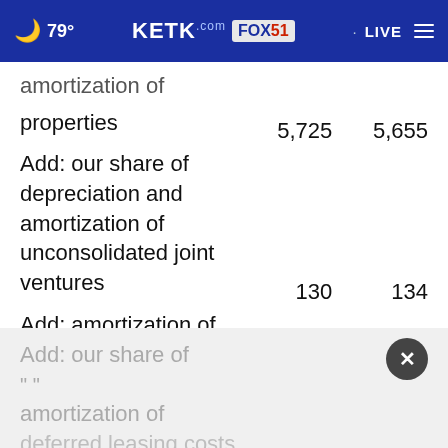79° KETK.com FOX51 LIVE
amortization of
|  |  |  |
| --- | --- | --- |
| properties | 5,725 | 5,655 |
| Add: our share of depreciation and amortization of unconsolidated joint ventures | 130 | 134 |
| Add: amortization of deferred leasing costs | 118 | 102 |
Add: our share of " " amortization of deferred leasing costs